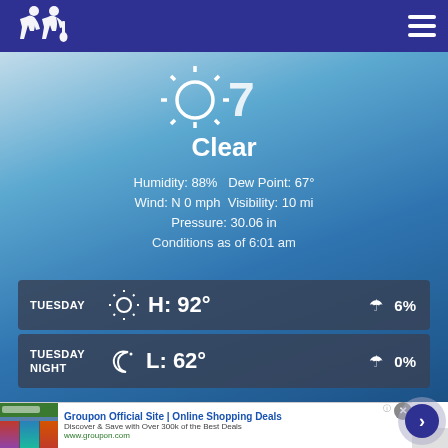[Figure (screenshot): Navigation bar with music/entertainment logo on left (two figure silhouettes) and hamburger menu icon on right, blue background]
[Figure (infographic): Weather app screenshot showing current conditions: Clear sky with sun icon, Humidity 88%, Dew Point 67°, Wind N 0 mph, Visibility 10 mi, Pressure 30.06 in, Conditions as of 6:01 am. Forecast: Tuesday High 92° 6% precipitation, Tuesday Night Low 62° 0% precipitation. Blue sky gradient background.]
Clear
Humidity: 88%   Dew Point: 67°
Wind: N 0 mph  Visibility: 10 mi
Pressure: 30.06 in
Conditions as of 6:01 am
TUESDAY  H: 92°  6%
TUESDAY NIGHT  L: 62°  0%
[Figure (screenshot): Groupon advertisement banner: thumbnail image of Groupon site, title 'Groupon Official Site | Online Shopping Deals', description 'Discover & Save with Over 300k of the Best Deals', URL www.groupon.com, blue arrow circle button on right, close X button top right]